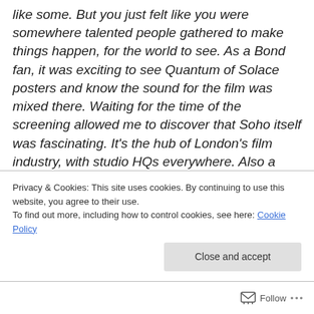like some. But you just felt like you were somewhere talented people gathered to make things happen, for the world to see. As a Bond fan, it was exciting to see Quantum of Solace posters and know the sound for the film was mixed there. Waiting for the time of the screening allowed me to discover that Soho itself was fascinating. It's the hub of London's film industry, with studio HQs everywhere. Also a wide range of Bloomsbury publishers inhabited the smarter buildings, near various TV production companies, such as Tiger Aspect, which I found in a corner of Soho Square, opposite a house the
Privacy & Cookies: This site uses cookies. By continuing to use this website, you agree to their use.
To find out more, including how to control cookies, see here: Cookie Policy
Close and accept
Follow